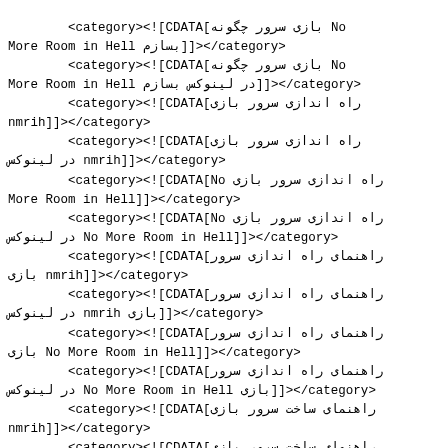<category><![CDATA[بازی سرور چگونه No More Room in Hell بسازم]]></category>
<category><![CDATA[بازی سرور چگونه No More Room in Hell در لینوکس بسازم]]></category>
<category><![CDATA[راه اندازی سرور بازی nmrih]]></category>
<category><![CDATA[راه اندازی سرور بازی در لینوکس nmrih]]></category>
<category><![CDATA[No راه اندازی سرور بازی No More Room in Hell]]></category>
<category><![CDATA[No راه اندازی سرور بازی در لینوکس No More Room in Hell]]></category>
<category><![CDATA[راهنمای راه اندازی سرور بازی nmrih]]></category>
<category><![CDATA[راهنمای راه اندازی سرور در لینوکس nmrih بازی]]></category>
<category><![CDATA[راهنمای راه اندازی سرور بازی No More Room in Hell]]></category>
<category><![CDATA[راهنمای راه اندازی سرور در لینوکس No More Room in Hell بازی]]></category>
<category><![CDATA[راهنمای ساخت سرور بازی nmrih]]></category>
<category><![CDATA[راهنمای ساخت سرور بازی در لینوکس nmrih]]></category>
<category><![CDATA[راهنمای ساخت سرور بازی No More Room in Hell]]></category>
<category><![CDATA[راهنمای ساخت سرور بازی در لینوکس No More Room in Hell]]></category>